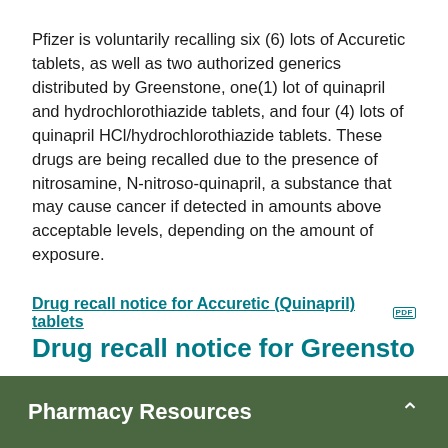Pfizer is voluntarily recalling six (6) lots of Accuretic tablets, as well as two authorized generics distributed by Greenstone, one(1) lot of quinapril and hydrochlorothiazide tablets, and four (4) lots of quinapril HCl/hydrochlorothiazide tablets. These drugs are being recalled due to the presence of nitrosamine, N-nitroso-quinapril, a substance that may cause cancer if detected in amounts above acceptable levels, depending on the amount of exposure.
Drug recall notice for Accuretic (Quinapril) tablets [PDF]
Drug recall notice for Greenstone...
Pharmacy Resources